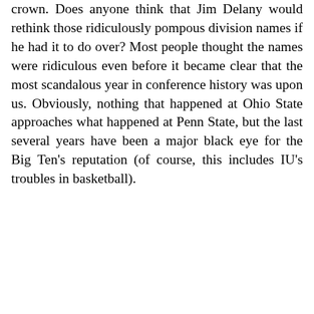crown. Does anyone think that Jim Delany would rethink those ridiculously pompous division names if he had it to do over? Most people thought the names were ridiculous even before it became clear that the most scandalous year in conference history was upon us. Obviously, nothing that happened at Ohio State approaches what happened at Penn State, but the last several years have been a major black eye for the Big Ten's reputation (of course, this includes IU's troubles in basketball).